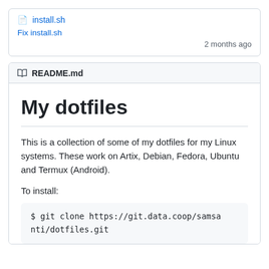install.sh
Fix install.sh
2 months ago
README.md
My dotfiles
This is a collection of some of my dotfiles for my Linux systems. These work on Artix, Debian, Fedora, Ubuntu and Termux (Android).
To install:
$ git clone https://git.data.coop/samsa
nti/dotfiles.git